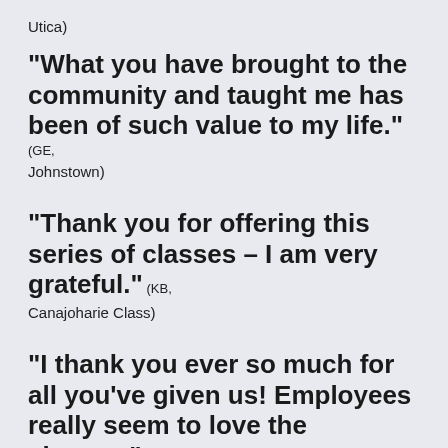Utica)
“What you have brought to the community and taught me has been of such value to my life.” (GE, Johnstown)
“Thank you for offering this series of classes – I am very grateful.” (KB, Canajoharie Class)
“I thank you ever so much for all you’ve given us! Employees really seem to love the classes.” (Mohawk Valley
Wellness Resource/Utica College)